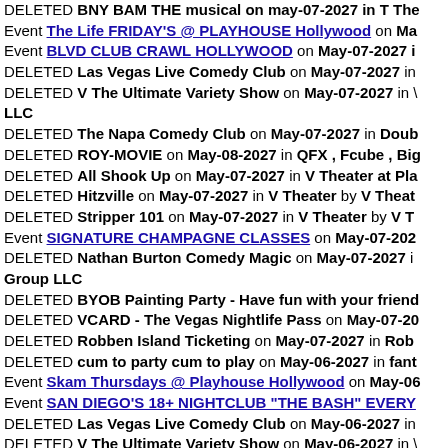DELETED [event name] on May-07-2027 in ...
Event The Life FRIDAY'S @ PLAYHOUSE Hollywood on Ma...
Event BLVD CLUB CRAWL HOLLYWOOD on May-07-2027 i...
DELETED Las Vegas Live Comedy Club on May-07-2027 in...
DELETED V The Ultimate Variety Show on May-07-2027 in... LLC
DELETED The Napa Comedy Club on May-07-2027 in Doub...
DELETED ROY-MOVIE on May-08-2027 in QFX , Fcube , Big...
DELETED All Shook Up on May-07-2027 in V Theater at Pla...
DELETED Hitzville on May-07-2027 in V Theater by V Theat...
DELETED Stripper 101 on May-07-2027 in V Theater by V T...
Event SIGNATURE CHAMPAGNE CLASSES on May-07-202...
DELETED Nathan Burton Comedy Magic on May-07-2027 i... Group LLC
DELETED BYOB Painting Party - Have fun with your friend...
DELETED VCARD - The Vegas Nightlife Pass on May-07-20...
DELETED Robben Island Ticketing on May-07-2027 in Rob...
DELETED cum to party cum to play on May-06-2027 in fant...
Event Skam Thursdays @ Playhouse Hollywood on May-06...
Event SAN DIEGO'S 18+ NIGHTCLUB "THE BASH" EVERY...
DELETED Las Vegas Live Comedy Club on May-06-2027 in...
DELETED V The Ultimate Variety Show on May-06-2027 in... LLC
DELETED ROY-MOVIE on May-07-2027 in QFX , Fcube , Big...
DELETED All Shook Up on May-06-2027 in V Theater at Pla...
DELETED Hitzville on May-06-2027 in V Theater by V Thea...